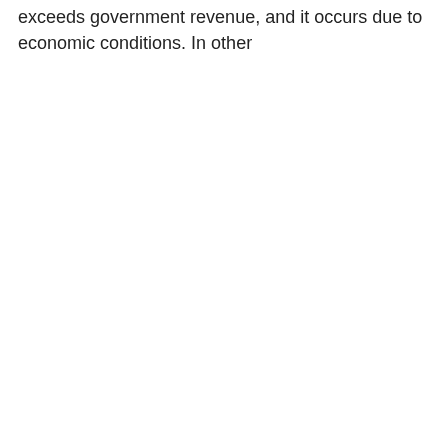exceeds government revenue, and it occurs due to economic conditions. In other